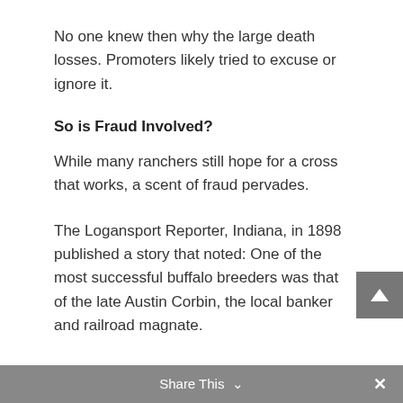No one knew then why the large death losses. Promoters likely tried to excuse or ignore it.
So is Fraud Involved?
While many ranchers still hope for a cross that works, a scent of fraud pervades.
The Logansport Reporter, Indiana, in 1898 published a story that noted: One of the most successful buffalo breeders was that of the late Austin Corbin, the local banker and railroad magnate.
Share This ∨  ×